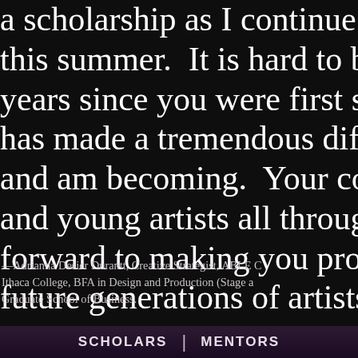a scholarship as I continue my this summer.  It is hard to believe years since you were first so generous has made a tremendous difference and am becoming.  Your continued and young artists all through the forward to making you proud and future generations of artists, as
—Adrianna Desier Durantt, Creative Strategist, ABLE C Ithaca College, BFA in Design and Production (Stage a Graduate School of Business.
Copyright Richard and Mica Hadar Foundation. All Rights Reserved.
SCHOLARS   |   MENTORS